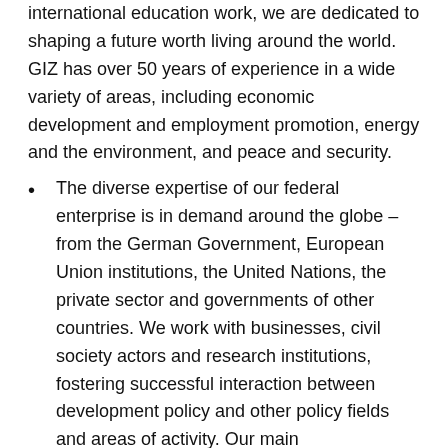international education work, we are dedicated to shaping a future worth living around the world. GIZ has over 50 years of experience in a wide variety of areas, including economic development and employment promotion, energy and the environment, and peace and security.
The diverse expertise of our federal enterprise is in demand around the globe – from the German Government, European Union institutions, the United Nations, the private sector and governments of other countries. We work with businesses, civil society actors and research institutions, fostering successful interaction between development policy and other policy fields and areas of activity. Our main commissioning party is the German Federal Ministry for Economic Cooperation and Development (BMZ).
The registered offices of GIZ are in Bonn and